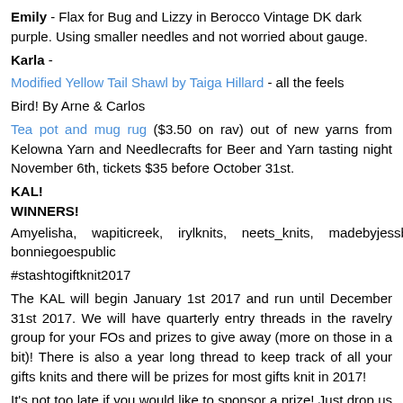Emily - Flax for Bug and Lizzy in Berocco Vintage DK dark purple. Using smaller needles and not worried about gauge.
Karla -
Modified Yellow Tail Shawl by Taiga Hillard - all the feels
Bird! By Arne & Carlos
Tea pot and mug rug ($3.50 on rav) out of new yarns from Kelowna Yarn and Needlecrafts for Beer and Yarn tasting night November 6th, tickets $35 before October 31st.
KAL!
WINNERS!
Amyelisha, wapiticreek, irylknits, neets_knits, madebyjessb, bonniegoespublic
#stashtogiftknit2017
The KAL will begin January 1st 2017 and run until December 31st 2017. We will have quarterly entry threads in the ravelry group for your FOs and prizes to give away (more on those in a bit)! There is also a year long thread to keep track of all your gifts knits and there will be prizes for most gifts knit in 2017!
It's not too late if you would like to sponsor a prize! Just drop us a line and we'd be happy to have you on board. All sponsors will be